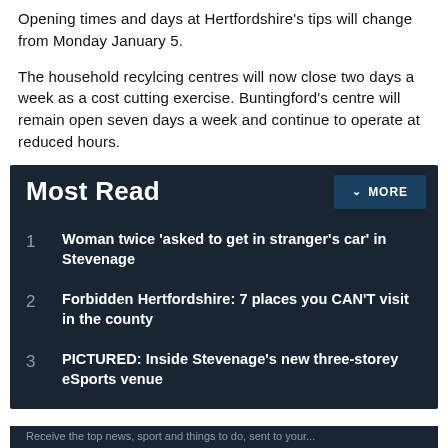Opening times and days at Hertfordshire's tips will change from Monday January 5.
The household recylcing centres will now close two days a week as a cost cutting exercise. Buntingford's centre will remain open seven days a week and continue to operate at reduced hours.
Most Read
1 Woman twice 'asked to get in stranger's car' in Stevenage
2 Forbidden Hertfordshire: 7 places you CAN'T visit in the county
3 PICTURED: Inside Stevenage's new three-storey eSports venue
Receive the top news, sport and things to do, sent to your...